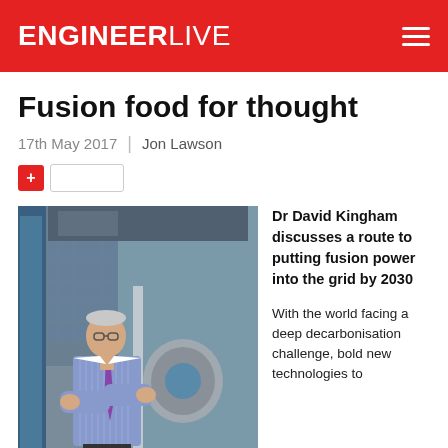ENGINEERLIVE
Fusion food for thought
17th May 2017 | Jon Lawson
[Figure (photo): Dr David Kingham standing in front of fusion engineering equipment in an industrial laboratory setting, wearing a purple tie and blue checked shirt with arms crossed]
Dr David Kingham discusses a route to putting fusion power into the grid by 2030
With the world facing a deep decarbonisation challenge, bold new technologies to dominate the energy market are needed